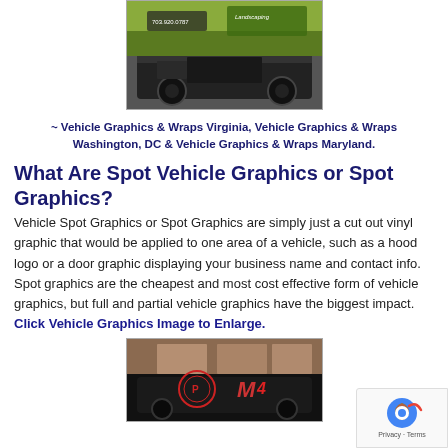[Figure (photo): Photo of a black pickup truck with vehicle wrap graphics including phone number 703.920.0787 and landscaping branding]
~ Vehicle Graphics & Wraps Virginia, Vehicle Graphics & Wraps Washington, DC & Vehicle Graphics & Wraps Maryland.
What Are Spot Vehicle Graphics or Spot Graphics?
Vehicle Spot Graphics or Spot Graphics are simply just a cut out vinyl graphic that would be applied to one area of a vehicle, such as a hood logo or a door graphic displaying your business name and contact info. Spot graphics are the cheapest and most cost effective form of vehicle graphics, but full and partial vehicle graphics have the biggest impact. Click Vehicle Graphics Image to Enlarge.
[Figure (photo): Photo of a black SUV/Jeep with red and white spot vehicle graphics on a brick building background]
[Figure (other): reCAPTCHA privacy badge in bottom right corner]